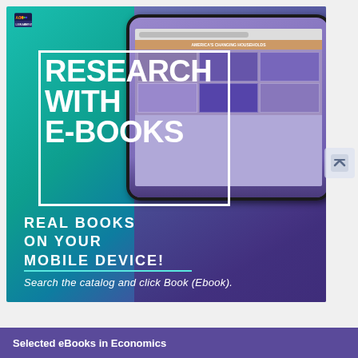[Figure (infographic): ACC Library Services promotional banner for 'Research with E-Books' featuring a tablet device displaying book covers, teal-to-purple gradient background, white border box framing the title text, ACC Library Services logo in top-left corner]
RESEARCH WITH E-BOOKS
REAL BOOKS ON YOUR MOBILE DEVICE!
Search the catalog and click Book (Ebook).
Selected eBooks in Economics